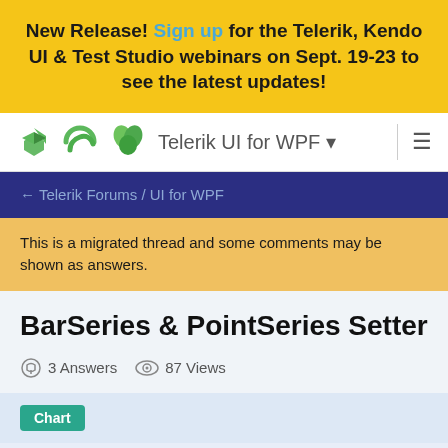New Release! Sign up for the Telerik, Kendo UI & Test Studio webinars on Sept. 19-23 to see the latest updates!
Telerik UI for WPF
← Telerik Forums / UI for WPF
This is a migrated thread and some comments may be shown as answers.
BarSeries & PointSeries Setter
3 Answers  87 Views
Chart